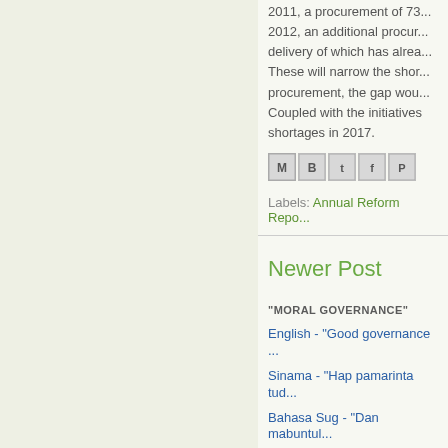2011, a procurement of 73... 2012, an additional procur... delivery of which has alrea... These will narrow the shor... procurement, the gap wou... Coupled with the initiatives shortages in 2017.
[Figure (other): Social sharing icons: Email, BlogThis, Twitter, Facebook, Pinterest]
Labels: Annual Reform Repo...
Newer Post
"MORAL GOVERNANCE"
English - "Good governance ..."
Sinama - "Hap pamarinta tud..."
Bahasa Sug - "Dan mabuntul..."
Meranaw - "Mathitu a kandat..."